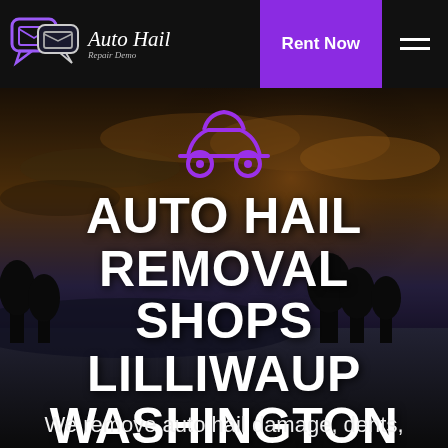Auto Hail Repair Demo — Rent Now
[Figure (screenshot): Website screenshot of Auto Hail Repair Demo page featuring a dark hero image of a car and dramatic sky, with a purple car icon, large white bold heading 'AUTO HAIL REMOVAL SHOPS LILLIWAUP WASHINGTON', and partial subtitle text 'We remove auto hail damage, dents,']
AUTO HAIL REMOVAL SHOPS LILLIWAUP WASHINGTON
We remove auto hail damage, dents,